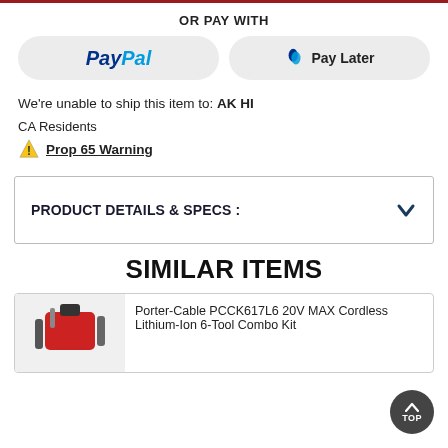OR PAY WITH
[Figure (other): Two payment buttons: PayPal and Pay Later]
We're unable to ship this item to: AK HI
CA Residents
⚠ Prop 65 Warning
PRODUCT DETAILS & SPECS :
SIMILAR ITEMS
Porter-Cable PCCK617L6 20V MAX Cordless Lithium-Ion 6-Tool Combo Kit